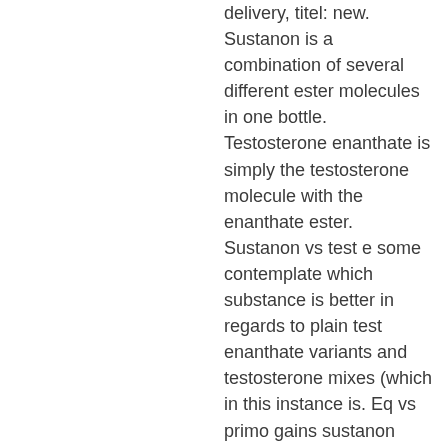delivery, titel: new. Sustanon is a combination of several different ester molecules in one bottle. Testosterone enanthate is simply the testosterone molecule with the enanthate ester. Sustanon vs test e some contemplate which substance is better in regards to plain test enanthate variants and testosterone mixes (which in this instance is. Eq vs primo gains sustanon boldenone dianabol cycle equipoise vs deca. Sustanon 250 versus testosterone enanthate